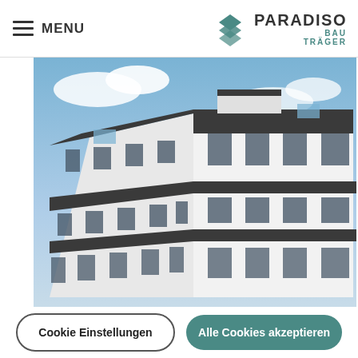MENU | PARADISO BAUTRÄGER
[Figure (photo): Exterior photo of a modern multi-storey white residential building with dark window frames and a dark roof, photographed from a slightly low angle against a blue sky with clouds.]
Wir verwenden eigene und Cookies von Dritten um unsere Services zu verbessern, individuelle Werbung anzuzeigen und Statistiken zu erhalten. Mit Klick auf "Cookies akzeptieren", stimmen Sie der Verwendung zu. Unter "Cookie Einstellungen", können Sie verschiedene Cookies aktivieren oder deaktivieren. Weitere Informationen:  Company details |Datenschutzerklärung |Cookie Richtlinie
Cookie Einstellungen
Alle Cookies akzeptieren